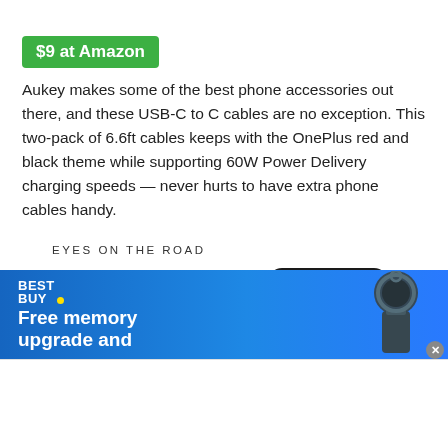$9 at Amazon
Aukey makes some of the best phone accessories out there, and these USB-C to C cables are no exception. This two-pack of 6.6ft cables keeps with the OnePlus red and black theme while supporting 60W Power Delivery charging speeds — never hurts to have extra phone cables handy.
EYES ON THE ROAD
[Figure (photo): A smartphone showing 9:41 on its lock screen, partially visible, cropped at the bottom edge of the content area.]
[Figure (photo): Best Buy advertisement banner with blue gradient background. Shows Best Buy logo with yellow dot, text 'Free memory upgrade and', and an image of a USB drive/memory device.]